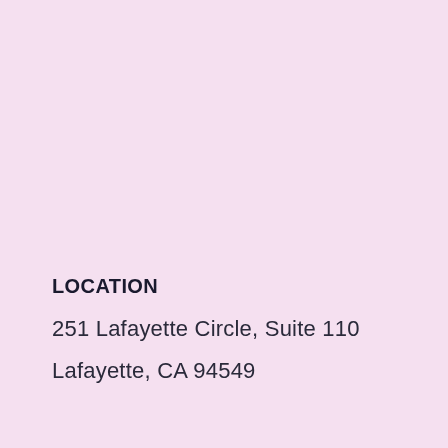LOCATION
251 Lafayette Circle, Suite 110
Lafayette, CA 94549